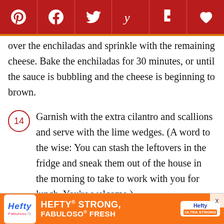Social sharing bar with Pinterest, Facebook, Twitter, Yummly, Flipboard, heart icons
over the enchiladas and sprinkle with the remaining cheese. Bake the enchiladas for 30 minutes, or until the sauce is bubbling and the cheese is beginning to brown.
14 Garnish with the extra cilantro and scallions and serve with the lime wedges. (A word to the wise: You can stash the leftovers in the fridge and sneak them out of the house in the morning to take to work with you for lunch. You're welcome.)
[Figure (infographic): Hefty Strong, Fabuloso Fresh advertisement banner]